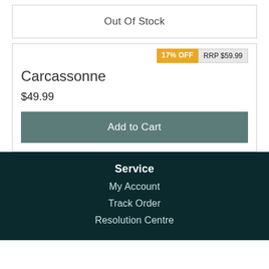Out Of Stock
17% OFF
RRP $59.99
Carcassonne
$49.99
Add to Cart
Service
My Account
Track Order
Resolution Centre